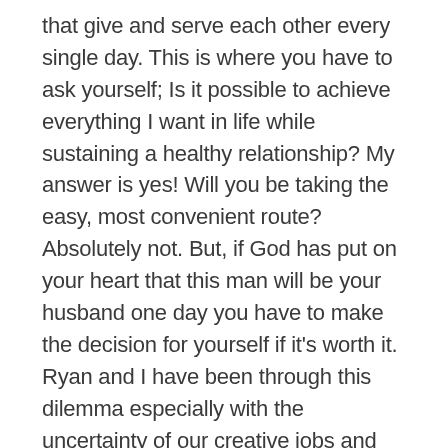that give and serve each other every single day. This is where you have to ask yourself; Is it possible to achieve everything I want in life while sustaining a healthy relationship? My answer is yes! Will you be taking the easy, most convenient route? Absolutely not. But, if God has put on your heart that this man will be your husband one day you have to make the decision for yourself if it's worth it. Ryan and I have been through this dilemma especially with the uncertainty of our creative jobs and calling, but each time we have chosen each other. Not only have we chosen each other, but also ourselves. We haven't given up on our dreams, we've just committed to making it all work no matter how hard it gets. Ryan is